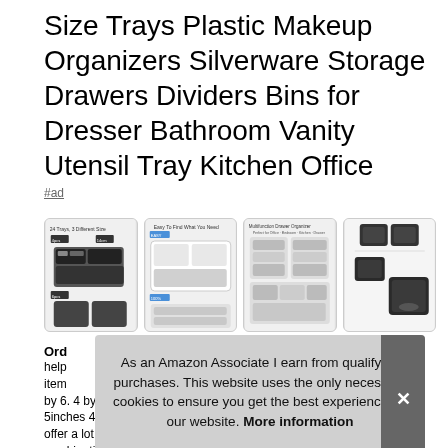Size Trays Plastic Makeup Organizers Silverware Storage Drawers Dividers Bins for Dresser Bathroom Vanity Utensil Tray Kitchen Office
#ad
[Figure (photo): Four thumbnail product images showing drawer organizer trays with makeup and small items organized inside, plus a view of the individual black plastic bins.]
Ord
help
item
by 6. 4 by 1. 5inches 4 pack, offer a lot of combinations to fit
As an Amazon Associate I earn from qualifying purchases. This website uses the only necessary cookies to ensure you get the best experience on our website. More information